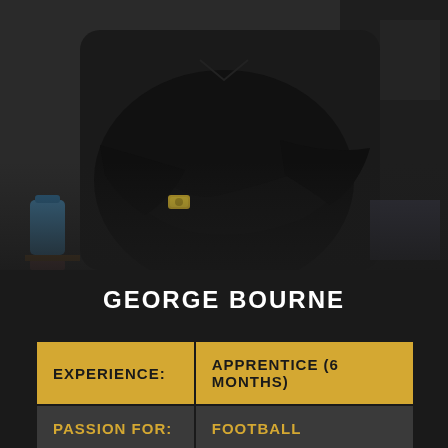[Figure (photo): Person dressed in black with arms crossed, wearing a gold watch, standing in an indoor setting]
GEORGE BOURNE
| EXPERIENCE: | APPRENTICE (6 MONTHS) |
| PASSION FOR: | FOOTBALL |